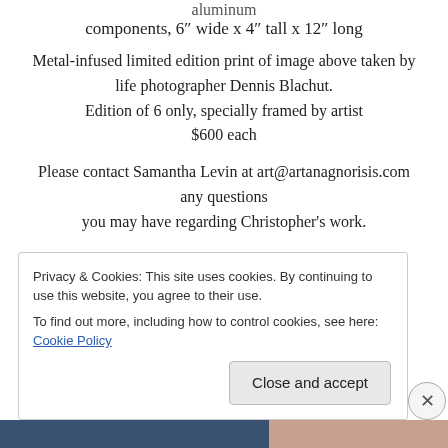aluminum
components, 6″ wide x 4″ tall x 12″ long
Metal-infused limited edition print of image above taken by life photographer Dennis Blachut. Edition of 6 only, specially framed by artist $600 each
Please contact Samantha Levin at art@artanagnorisis.com any questions you may have regarding Christopher's work.
Privacy & Cookies: This site uses cookies. By continuing to use this website, you agree to their use. To find out more, including how to control cookies, see here: Cookie Policy